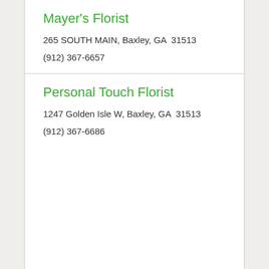Mayer's Florist
265 SOUTH MAIN, Baxley, GA  31513
(912) 367-6657
Personal Touch Florist
1247 Golden Isle W, Baxley, GA  31513
(912) 367-6686